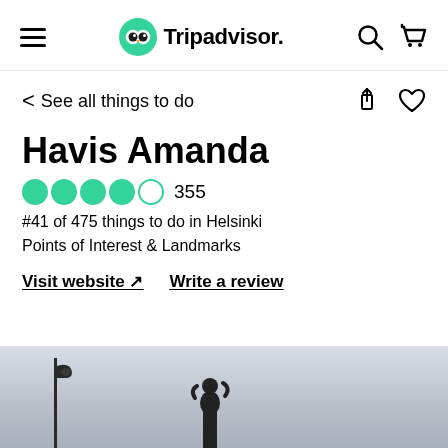[Figure (screenshot): Tripadvisor mobile app navigation bar with hamburger menu, Tripadvisor logo (owl icon in green circle), search icon, and cart icon]
< See all things to do
Havis Amanda
4 out of 5 circles rating   355
#41 of 475 things to do in Helsinki
Points of Interest & Landmarks
Visit website ↗   Write a review
[Figure (photo): Outdoor photo showing a street lamp silhouette on the left and a statue silhouette in the center against an overcast sky in Helsinki]